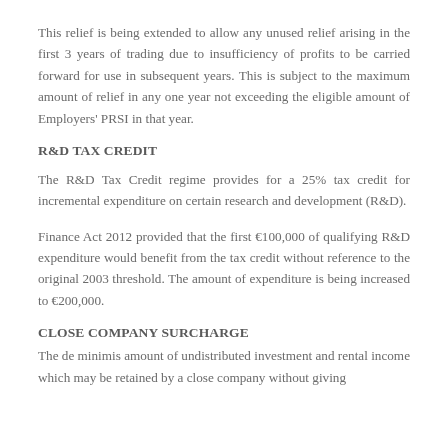This relief is being extended to allow any unused relief arising in the first 3 years of trading due to insufficiency of profits to be carried forward for use in subsequent years. This is subject to the maximum amount of relief in any one year not exceeding the eligible amount of Employers' PRSI in that year.
R&D TAX CREDIT
The R&D Tax Credit regime provides for a 25% tax credit for incremental expenditure on certain research and development (R&D).
Finance Act 2012 provided that the first €100,000 of qualifying R&D expenditure would benefit from the tax credit without reference to the original 2003 threshold. The amount of expenditure is being increased to €200,000.
CLOSE COMPANY SURCHARGE
The de minimis amount of undistributed investment and rental income which may be retained by a close company without giving